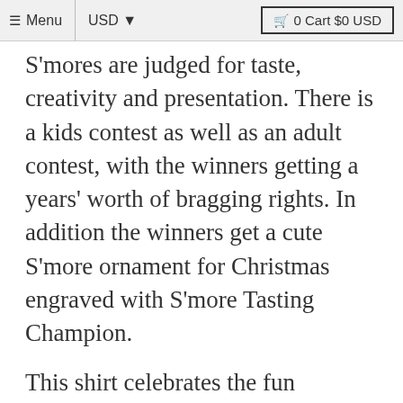≡ Menu  USD ▾  🛒 0 Cart $0 USD
S'mores are judged for taste, creativity and presentation. There is a kids contest as well as an adult contest, with the winners getting a years' worth of bragging rights. In addition the winners get a cute S'more ornament for Christmas engraved with S'more Tasting Champion.
This shirt celebrates the fun memories of our family gatherings for the S'more Tasting Contest. We hope it inspires you to hang out around the fire with your own family.